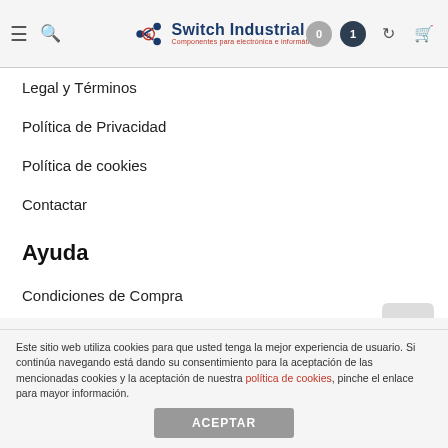Switch Industrial — Componentes para electrónica e informática
Legal y Términos
Política de Privacidad
Política de cookies
Contactar
Ayuda
Condiciones de Compra
Envíos y devoluciones
Tienda On-Line
Mi Cuenta
Este sitio web utiliza cookies para que usted tenga la mejor experiencia de usuario. Si continúa navegando está dando su consentimiento para la aceptación de las mencionadas cookies y la aceptación de nuestra política de cookies, pinche el enlace para mayor información.